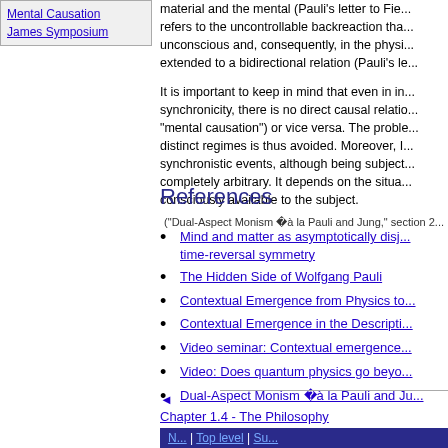Mental Causation
James Symposium
material and the mental (Pauli's letter to Fie... refers to the uncontrollable backreaction tha... unconscious and, consequently, in the physi... extended to a bidirectional relation (Pauli's le...
It is important to keep in mind that even in in... synchronicity, there is no direct causal relatio... "mental causation") or vice versa. The proble... distinct regimes is thus avoided. Moreover, I... synchronistic events, although being subject... completely arbitrary. It depends on the situa... consciously available to the subject.
("Dual-Aspect Monism à la Pauli and Jung," section 2...
References
Mind and matter as asymptotically disjoint regions with time-reversal symmetry
The Hidden Side of Wolfgang Pauli
Contextual Emergence from Physics to...
Contextual Emergence in the Descripti...
Video seminar: Contextual emergence...
Video: Does quantum physics go beyo...
Dual-Aspect Monism à la Pauli and Ju...
◄ Chapter 1.4 - The Philosophy
◄ Home